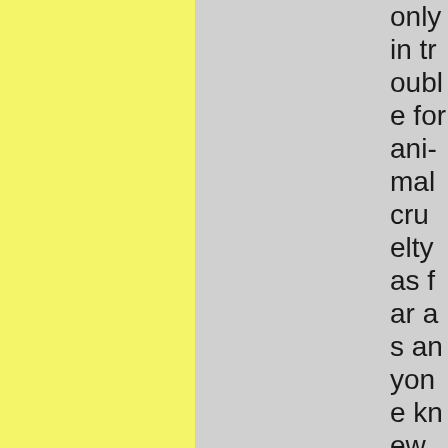only in trouble for animal cruelty as far as anyone knew. But now Silas had to get